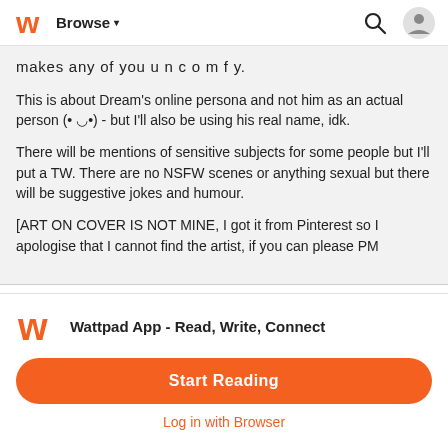Browse
makes any of you uncomfy.
This is about Dream's online persona and not him as an actual person (• ◡•) - but I'll also be using his real name, idk.
There will be mentions of sensitive subjects for some people but I'll put a TW. There are no NSFW scenes or anything sexual but there will be suggestive jokes and humour.
[ART ON COVER IS NOT MINE, I got it from Pinterest so I apologise that I cannot find the artist, if you can please PM
Wattpad App - Read, Write, Connect
Start Reading
Log in with Browser